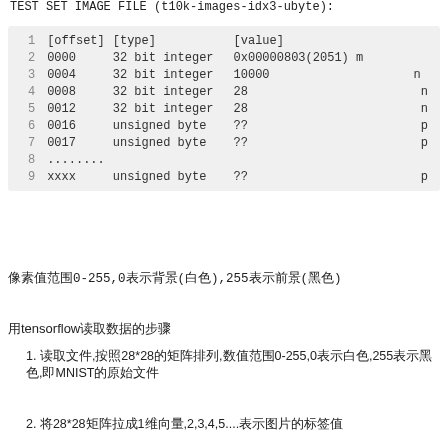TEST SET IMAGE FILE (t10k-images-idx3-ubyte):
|  | [offset] | [type] | [value] |  |
| --- | --- | --- | --- | --- |
| 1 | [offset] | [type] | [value] |  |
| 2 | 0000 | 32 bit integer | 0x00000803(2051) | m |
| 3 | 0004 | 32 bit integer | 10000 | n |
| 4 | 0008 | 32 bit integer | 28 | n |
| 5 | 0012 | 32 bit integer | 28 | n |
| 6 | 0016 | unsigned byte | ?? | p |
| 7 | 0017 | unsigned byte | ?? | p |
| 8 | ........ |  |  |  |
| 9 | xxxx | unsigned byte | ?? | p |
像素值范围0-255,0表示背景(白色),255表示前景(黑色)
用tensorflow读取数据的步骤
1. 读取文件,按照28*28的矩阵排列,数值范围0-255,0表示白色,255表示黑色,即MNIST的原始文件
2. 将28*28矩阵拉成1维向量,2,3,4,5....表示图片的标签值